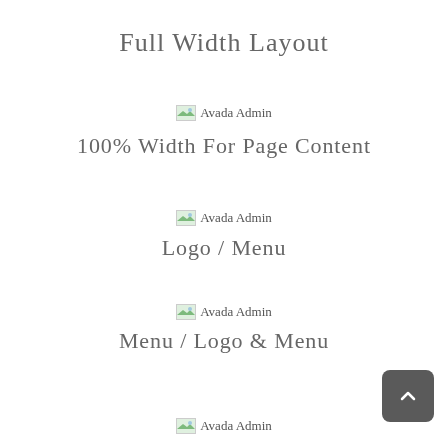Full Width Layout
[Figure (screenshot): Avada Admin image placeholder]
100% Width For Page Content
[Figure (screenshot): Avada Admin image placeholder]
Logo / Menu
[Figure (screenshot): Avada Admin image placeholder]
Menu / Logo & Menu
[Figure (screenshot): Avada Admin image placeholder]